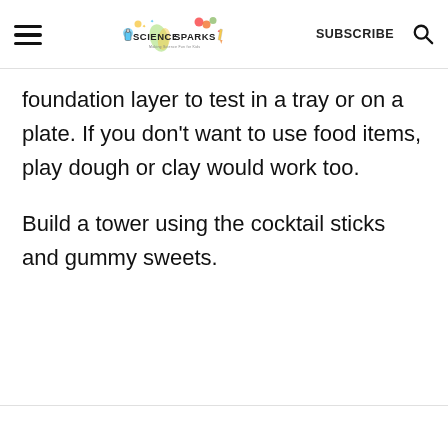Science Sparks | SUBSCRIBE
foundation layer to test in a tray or on a plate. If you don’t want to use food items, play dough or clay would work too.
Build a tower using the cocktail sticks and gummy sweets.